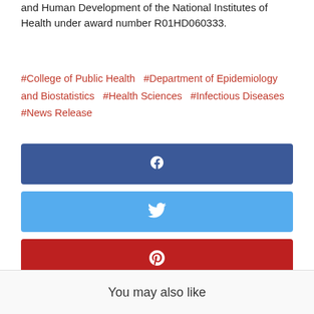and Human Development of the National Institutes of Health under award number R01HD060333.
#College of Public Health  #Department of Epidemiology and Biostatistics  #Health Sciences  #Infectious Diseases  #News Release
[Figure (other): Facebook share button (dark blue)]
[Figure (other): Twitter share button (light blue)]
[Figure (other): Pinterest share button (red)]
[Figure (other): LinkedIn share button (medium blue)]
You may also like